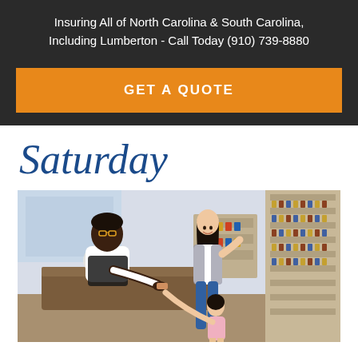Insuring All of North Carolina & South Carolina, Including Lumberton - Call Today (910) 739-8880
GET A QUOTE
Saturday
[Figure (photo): Store counter scene: a male employee in a black apron leans over a wooden counter handing something to a young girl, while a woman (mother) stands nearby smiling; store shelves with products visible in background.]